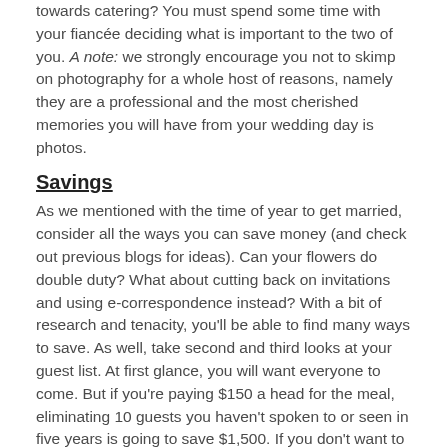towards catering? You must spend some time with your fiancée deciding what is important to the two of you. A note: we strongly encourage you not to skimp on photography for a whole host of reasons, namely they are a professional and the most cherished memories you will have from your wedding day is photos.
Savings
As we mentioned with the time of year to get married, consider all the ways you can save money (and check out previous blogs for ideas). Can your flowers do double duty? What about cutting back on invitations and using e-correspondence instead? With a bit of research and tenacity, you'll be able to find many ways to save. As well, take second and third looks at your guest list. At first glance, you will want everyone to come. But if you're paying $150 a head for the meal, eliminating 10 guests you haven't spoken to or seen in five years is going to save $1,500. If you don't want to scrimp on your big day, that's completely